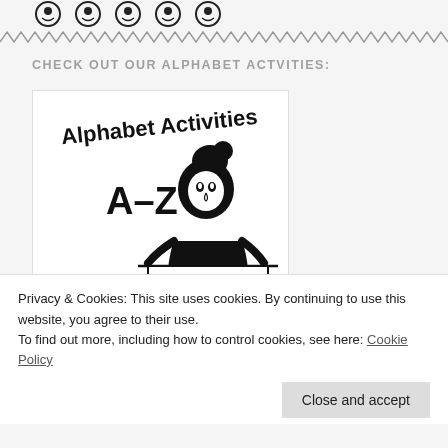[Figure (illustration): Row of circular cartoon face icons at the top of the page]
CHECK OUT OUR ALPHABET ACTVITIES:
[Figure (illustration): Alphabet Activities A-Z book cover image showing a girl peeking over a book with text 'Alphabet Activities A-Z']
Privacy & Cookies: This site uses cookies. By continuing to use this website, you agree to their use.
To find out more, including how to control cookies, see here: Cookie Policy
Close and accept